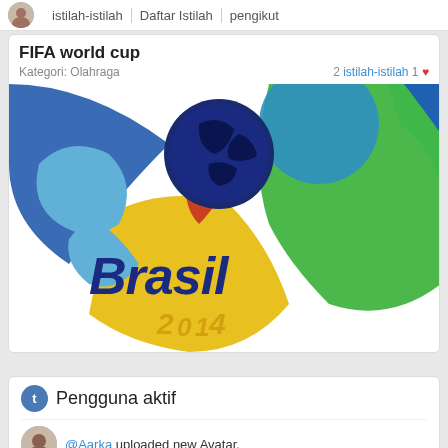istilah-istilah | Daftar Istilah | pengikut
FIFA world cup
Kategori: Olahraga   2 istilah-istilah 1 ♥
[Figure (logo): Brasil 2014 FIFA World Cup logo with colorful bird/soccer ball design on white background]
Pengguna aktif
@Aarka uploaded new Avatar.